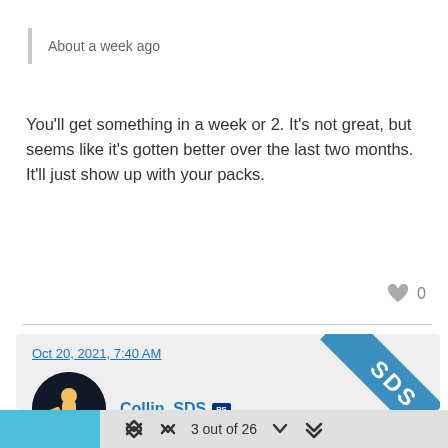About a week ago
You'll get something in a week or 2. It's not great, but seems like it's gotten better over the last two months. It'll just show up with your packs.
0
Oct 20, 2021, 7:40 AM
Collin_SDS
Scouting Report Packs are delivered once a month.
3 out of 26